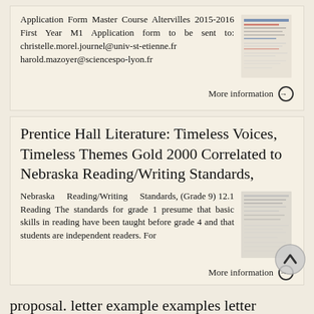Application Form Master Course Altervilles 2015-2016 First Year M1 Application form to be sent to: christelle.morel.journel@univ-st-etienne.fr harold.mazoyer@sciencespo-lyon.fr
More information →
Prentice Hall Literature: Timeless Voices, Timeless Themes Gold 2000 Correlated to Nebraska Reading/Writing Standards,
Nebraska Reading/Writing Standards, (Grade 9) 12.1 Reading The standards for grade 1 presume that basic skills in reading have been taught before grade 4 and that students are independent readers. For
More information →
proposal. letter example examples letter